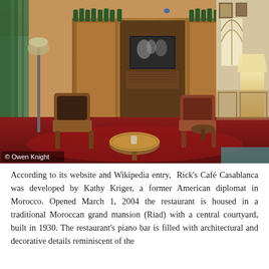[Figure (photo): Interior of Rick's Café Casablanca showing a sitting room with wooden wardrobes and cabinetry, a flat-screen TV playing a black-and-white film, Moroccan arched windows, leather and wooden chairs around a round mosaic table, a lamp, wine bottles on top of the cabinets, framed pictures on the walls, and green curtains. Copyright watermark reads '© Owen Knight'.]
According to its website and Wikipedia entry,  Rick's Café Casablanca was developed by Kathy Kriger, a former American diplomat in Morocco. Opened March 1, 2004 the restaurant is housed in a traditional Moroccan grand mansion (Riad) with a central courtyard, built in 1930. The restaurant's piano bar is filled with architectural and decorative details reminiscent of the